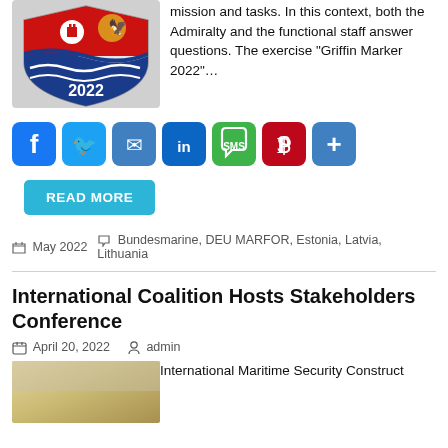[Figure (logo): Coat of arms / military emblem with '2022' text, red and blue shield design]
mission and tasks. In this context, both the Admiralty and the functional staff answer questions. The exercise "Griffin Marker 2022"…
[Figure (infographic): Social media sharing icons: Facebook, Twitter, Email, LinkedIn, SMS, Pinterest, Share]
READ MORE
May 2022   Bundesmarine, DEU MARFOR, Estonia, Latvia, Lithuania
International Coalition Hosts Stakeholders Conference
April 20, 2022   admin
[Figure (photo): Sandy/beige colored background photo (landscape)]
International Maritime Security Construct